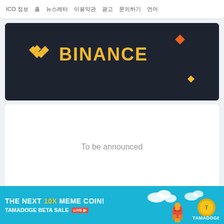ICO 정보  |  홈  |  뉴스레터  |  이용약관  |  광고  |  문의하기  |  언어
[Figure (logo): Binance exchange logo on dark background with decorative diamond shapes]
To be announced
[Figure (infographic): Tamadoge advertisement banner: THE NEXT 10X MEME COIN! TAMADOGE BETA SALE LIVE with rocket and character illustration]